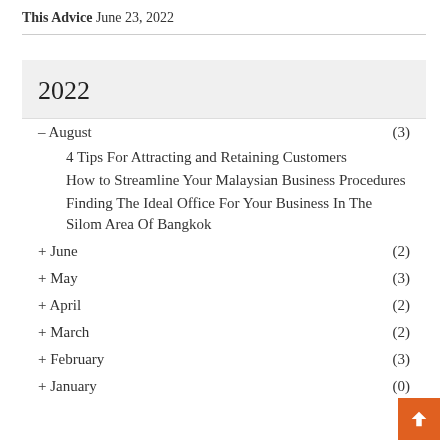This Advice June 23, 2022
2022
– August (3)
4 Tips For Attracting and Retaining Customers
How to Streamline Your Malaysian Business Procedures
Finding The Ideal Office For Your Business In The Silom Area Of Bangkok
+ June (2)
+ May (3)
+ April (2)
+ March (2)
+ February (3)
+ January (0)